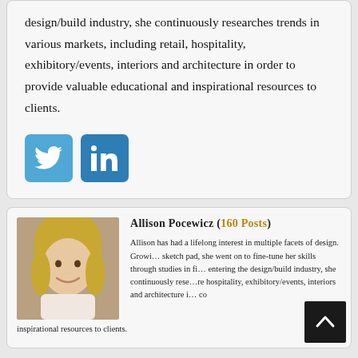design/build industry, she continuously researches trends in various markets, including retail, hospitality, exhibitory/events, interiors and architecture in order to provide valuable educational and inspirational resources to clients.
[Figure (other): Twitter and LinkedIn social media icon buttons]
[Figure (photo): Portrait photo of Allison Pocewicz, a woman with blonde hair, smiling outdoors]
Allison Pocewicz (160 Posts)
Allison has had a lifelong interest in multiple facets of design. Growing up with a sketch pad, she went on to fine-tune her skills through studies in fine arts. After entering the design/build industry, she continuously researches trends in retail, hospitality, exhibitory/events, interiors and architecture in order to provide valuable educational and inspirational resources to clients.